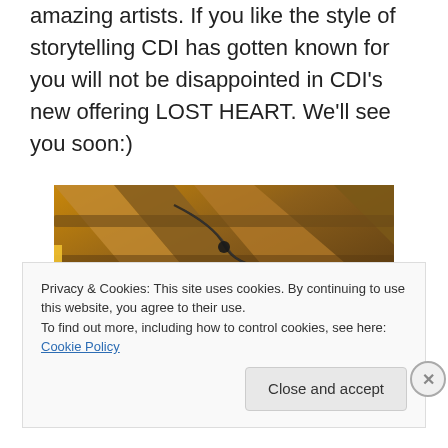amazing artists. If you like the style of storytelling CDI has gotten known for you will not be disappointed in CDI's new offering LOST HEART. We'll see you soon:)
[Figure (photo): Interior photo showing wooden roof beams or ceiling structure with wiring, warm amber lighting from below]
Privacy & Cookies: This site uses cookies. By continuing to use this website, you agree to their use.
To find out more, including how to control cookies, see here: Cookie Policy